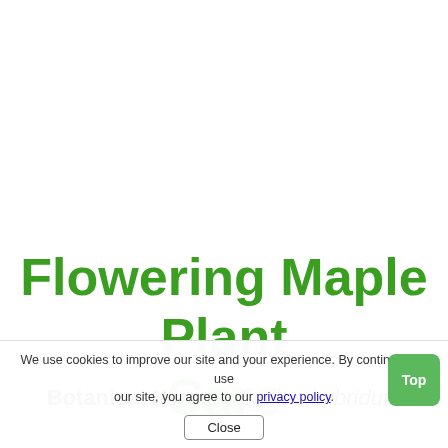Flowering Maple Plant Care
Botanical Name: Abutilon hvbridum
We use cookies to improve our site and your experience. By continuing to use our site, you agree to our privacy policy.
Close